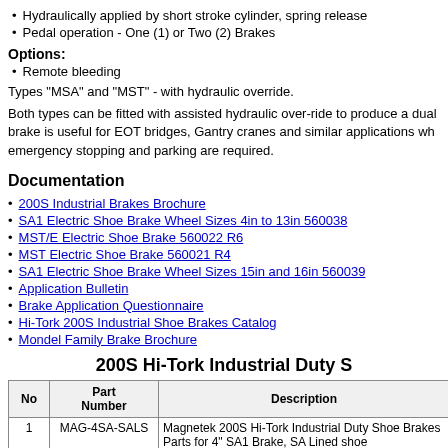Hydraulically applied by short stroke cylinder, spring release
Pedal operation - One (1) or Two (2) Brakes
Options:
Remote bleeding
Types "MSA" and "MST" - with hydraulic override.
Both types can be fitted with assisted hydraulic over-ride to produce a dual brake is useful for EOT bridges, Gantry cranes and similar applications wh emergency stopping and parking are required.
Documentation
200S Industrial Brakes Brochure
SA1 Electric Shoe Brake Wheel Sizes 4in to 13in 560038
MST/E Electric Shoe Brake 560022 R6
MST Electric Shoe Brake 560021 R4
SA1 Electric Shoe Brake Wheel Sizes 15in and 16in 560039
Application Bulletin
Brake Application Questionnaire
Hi-Tork 200S Industrial Shoe Brakes Catalog
Mondel Family Brake Brochure
200S Hi-Tork Industrial Duty S
| No | Part Number | Description |
| --- | --- | --- |
| 1 | MAG-4SA-SALS | Magnetek 200S Hi-Tork Industrial Duty Shoe Brakes Parts for 4" SA1 Brake, SA Lined shoe |
| 2 | MAG-4SA-TS | Magnetek 200S Hi-Tork Industrial Duty Shoe Brakes Parts for 4" SA1 Brake, Torque springs/collars (kit) |
| 3 | MAG-4SA-PIV | Magnetek 200S Hi-Tork Industrial Duty Shoe Brakes Parts for 4" SA1 Brake, Pivot pin (7 on a brake) (per |